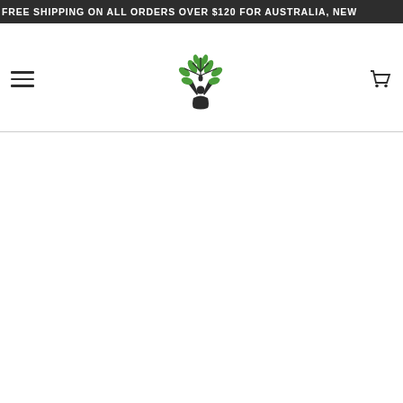FREE SHIPPING ON ALL ORDERS OVER $120 FOR AUSTRALIA, NEW...
[Figure (logo): Yoga/wellness brand logo: a meditating figure in lotus pose with green leaf branches forming a tree shape above, black silhouette on white background]